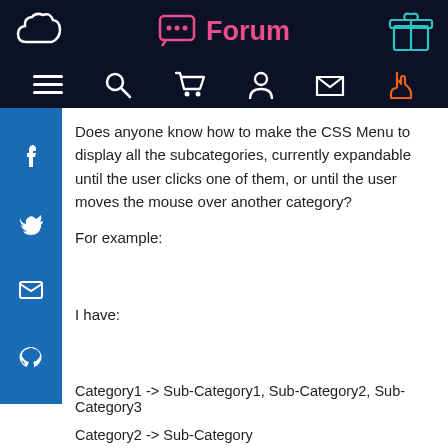Forum
[Figure (screenshot): Website navigation bar with icons: hamburger menu, search, cart, user, envelope, hand pointer in orange. Left side has cloud logo, right side has box logo. Center shows Forum title in pink with chat icon.]
Does anyone know how to make the CSS Menu to display all the subcategories, currently expandable until the user clicks one of them, or until the user moves the mouse over another category?
For example:
I have:
Category1 -> Sub-Category1, Sub-Category2, Sub-Category3
Category2 -> Sub-Category